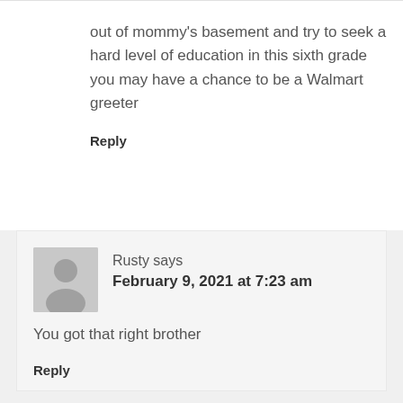out of mommy's basement and try to seek a hard level of education in this sixth grade you may have a chance to be a Walmart greeter
Reply
Rusty says
February 9, 2021 at 7:23 am
You got that right brother
Reply